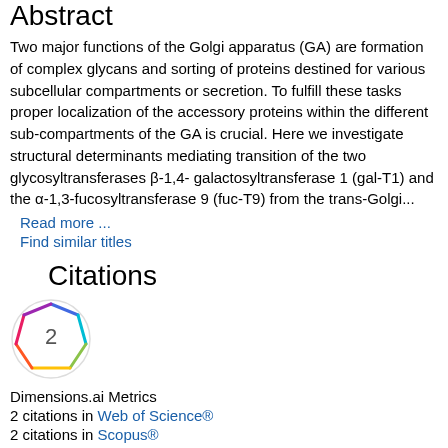Abstract
Two major functions of the Golgi apparatus (GA) are formation of complex glycans and sorting of proteins destined for various subcellular compartments or secretion. To fulfill these tasks proper localization of the accessory proteins within the different sub-compartments of the GA is crucial. Here we investigate structural determinants mediating transition of the two glycosyltransferases β-1,4- galactosyltransferase 1 (gal-T1) and the α-1,3-fucosyltransferase 9 (fuc-T9) from the trans-Golgi...
Read more ...
Find similar titles
Citations
[Figure (other): Dimensions.ai citation badge showing number 2 inside a colorful polygon shape on white circular background]
Dimensions.ai Metrics
2 citations in Web of Science®
2 citations in Scopus®
Google Scholar™
Altmetrics